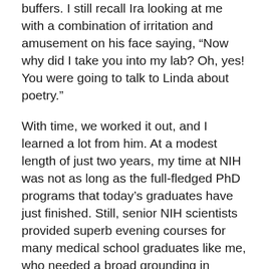buffers. I still recall Ira looking at me with a combination of irritation and amusement on his face saying, “Now why did I take you into my lab? Oh, yes! You were going to talk to Linda about poetry.”
With time, we worked it out, and I learned a lot from him. At a modest length of just two years, my time at NIH was not as long as the full-fledged PhD programs that today’s graduates have just finished. Still, senior NIH scientists provided superb evening courses for many medical school graduates like me, who needed a broad grounding in science in addition to some practical skills in the lab — like how to use buffers – if we were going to become serious scientists.
From those courses I learned about important and thrilling intellectual frontiers. So I soon set aside my earlier clinical ambitions in favor of a